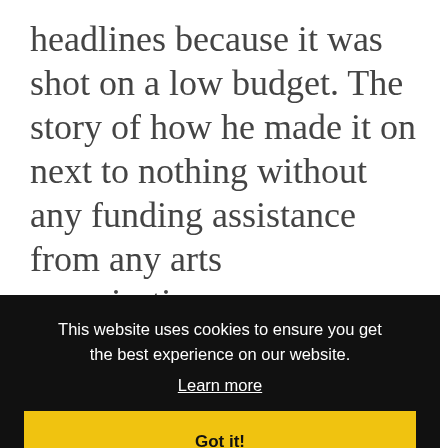headlines because it was shot on a low budget. The story of how he made it on next to nothing without any funding assistance from any arts organisations or government film funding bodies made every national newspaper in Scotland, radio station and television as a spotlight on Recent new exciting talent. It was the only Scottish film at Cannes in 2005. It is a gutsy story of brave, brave, creative...
This website uses cookies to ensure you get the best experience on our website. Learn more Got it!